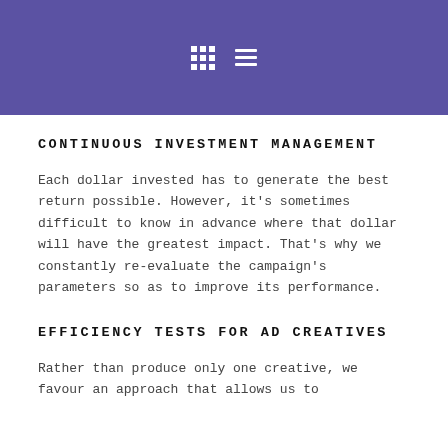[Figure (other): Purple header bar with a grid icon and hamburger menu icon in white]
CONTINUOUS INVESTMENT MANAGEMENT
Each dollar invested has to generate the best return possible. However, it's sometimes difficult to know in advance where that dollar will have the greatest impact. That's why we constantly re-evaluate the campaign's parameters so as to improve its performance.
EFFICIENCY TESTS FOR AD CREATIVES
Rather than produce only one creative, we favour an approach that allows us to